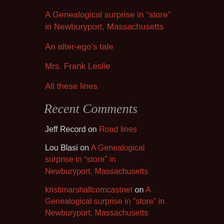A Genealogical surprise in “store” in Newburyport, Massachusetts
An alter-ego’s tale
Mrs. Frank Leslie
All these lines
Recent Comments
Jeff Record on Road lines
Lou Blasi on A Genealogical surprise in “store” in Newburyport, Massachusetts
kristimarshallcomcastnet on A Genealogical surprise in “store” in Newburyport, Massachusetts
Jeff Record on An alter-ego’s tale